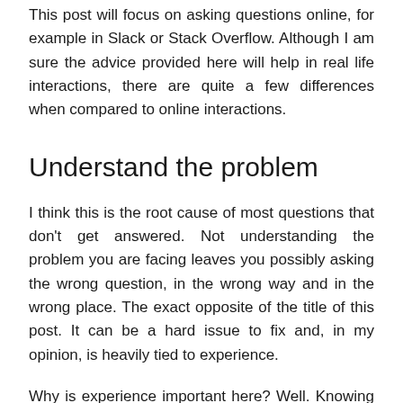This post will focus on asking questions online, for example in Slack or Stack Overflow. Although I am sure the advice provided here will help in real life interactions, there are quite a few differences when compared to online interactions.
Understand the problem
I think this is the root cause of most questions that don't get answered. Not understanding the problem you are facing leaves you possibly asking the wrong question, in the wrong way and in the wrong place. The exact opposite of the title of this post. It can be a hard issue to fix and, in my opinion, is heavily tied to experience.
Why is experience important here? Well. Knowing the boundaries of different technologies, frameworks or